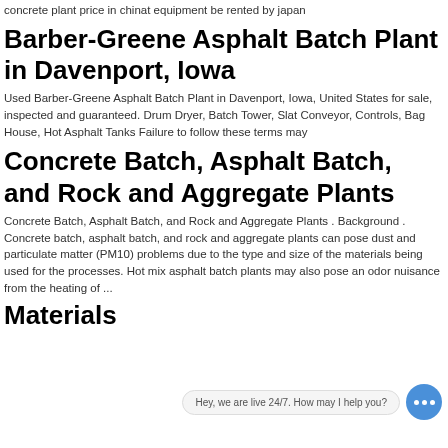concrete plant price in chinat equipment be rented by japan
Barber-Greene Asphalt Batch Plant in Davenport, Iowa
Used Barber-Greene Asphalt Batch Plant in Davenport, Iowa, United States for sale, inspected and guaranteed. Drum Dryer, Batch Tower, Slat Conveyor, Controls, Bag House, Hot Asphalt Tanks Failure to follow these terms may
Concrete Batch, Asphalt Batch, and Rock and Aggregate Plants
Concrete Batch, Asphalt Batch, and Rock and Aggregate Plants . Background . Concrete batch, asphalt batch, and rock and aggregate plants can pose dust and particulate matter (PM10) problems due to the type and size of the materials being used for the processes. Hot mix asphalt batch plants may also pose an odor nuisance from the heating of ...
Materials